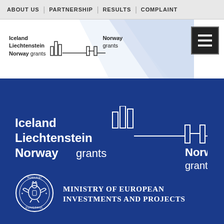ABOUT US | PARTNERSHIP | RESULTS | COMPLAINT
[Figure (logo): Iceland Liechtenstein Norway grants logo (small, in white header band)]
[Figure (logo): Hamburger menu button (three white lines on dark background)]
[Figure (logo): Large Iceland Liechtenstein Norway grants logo on dark blue background with horizontal line connecting two logo marks]
[Figure (logo): Government of Romania seal / Guvernul Romaniei circular emblem]
MINISTRY OF EUROPEAN INVESTMENTS AND PROJECTS